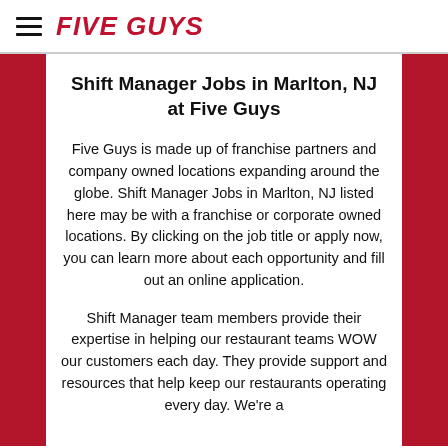FIVE GUYS
Shift Manager Jobs in Marlton, NJ at Five Guys
Five Guys is made up of franchise partners and company owned locations expanding around the globe. Shift Manager Jobs in Marlton, NJ listed here may be with a franchise or corporate owned locations. By clicking on the job title or apply now, you can learn more about each opportunity and fill out an online application.
Shift Manager team members provide their expertise in helping our restaurant teams WOW our customers each day. They provide support and resources that help keep our restaurants operating every day. We're a